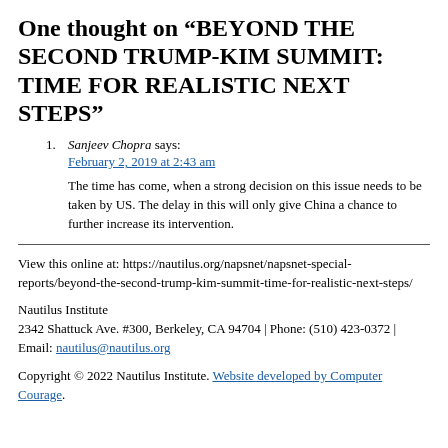One thought on “BEYOND THE SECOND TRUMP-KIM SUMMIT: TIME FOR REALISTIC NEXT STEPS”
Sanjeev Chopra says:
February 2, 2019 at 2:43 am

The time has come, when a strong decision on this issue needs to be taken by US. The delay in this will only give China a chance to further increase its intervention.
View this online at: https://nautilus.org/napsnet/napsnet-special-reports/beyond-the-second-trump-kim-summit-time-for-realistic-next-steps/
Nautilus Institute
2342 Shattuck Ave. #300, Berkeley, CA 94704 | Phone: (510) 423-0372 | Email: nautilus@nautilus.org
Copyright © 2022 Nautilus Institute. Website developed by Computer Courage.